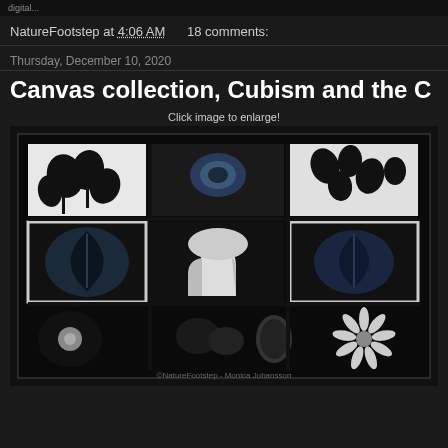digital...
NatureFootstep at 4:06 AM   18 comments:
Thursday, December 10, 2020
Canvas collection, Cubism and the C
Click image to enlarge!
[Figure (photo): A collage of nine black and white photographic artworks arranged in a 3x3 grid on a dark background, showing various natural objects (flowers, leaves, mushroom) in high contrast black and white style. Watermark: ©NatureFootstep - Monica Johansson]